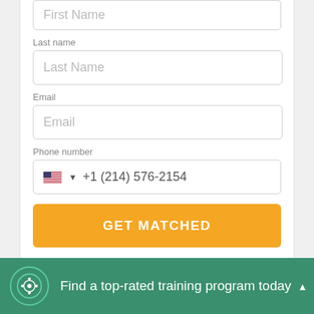First Name
Last name
Last Name
Email
Email
Phone number
+1 (214) 576-2154
GET MATCHED
By continuing you agree to our Terms of Service and Privacy Policy, and you consent to receive offers and opportunities from Career Karma by telephone, text message, and email.
Find a top-rated training program today ▲